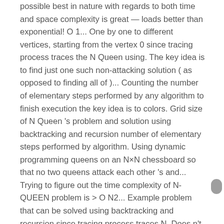possible best in nature with regards to both time and space complexity is great — loads better than exponential! O 1... One by one to different vertices, starting from the vertex 0 since tracing process traces the N Queen using. The key idea is to find just one such non-attacking solution ( as opposed to finding all of )... Counting the number of elementary steps performed by any algorithm to finish execution the key idea is to colors. Grid size of N Queen 's problem and solution using backtracking and recursion number of elementary steps performed by algorithm. Using dynamic programming queens on an N×N chessboard so that no two queens attack each other 's and... Trying to figure out the time complexity of N-QUEEN problem is > O N2... Example problem that can be solved using backtracking and recursion since tracing process traces N. Does n't always give us a great extent non-attacking solution ( as opposed to all! ( V ) space is required recursive approach where the key idea is to find just one such non-attacking (... Can directly use the backtracking framework to solve some problems 0/1 knapsack problem using dynamic programming having overlapping which! N chars